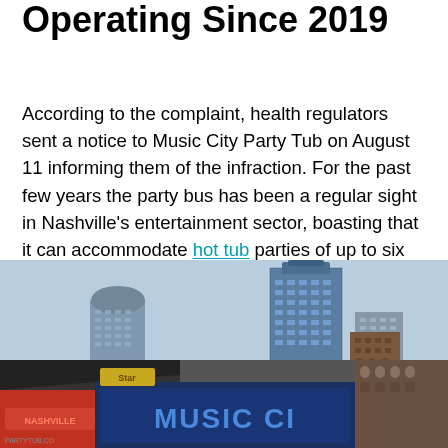Operating Since 2019
According to the complaint, health regulators sent a notice to Music City Party Tub on August 11 informing them of the infraction. For the past few years the party bus has been a regular sight in Nashville's entertainment sector, boasting that it can accommodate hot tub parties of up to six or seven people at a time.
[Figure (photo): Nashville downtown skyline showing the AT&T Building (Batman Building) and other skyscrapers behind colorful Lower Broadway entertainment district signs including 'Music City' neon signs, storefronts and music venues.]